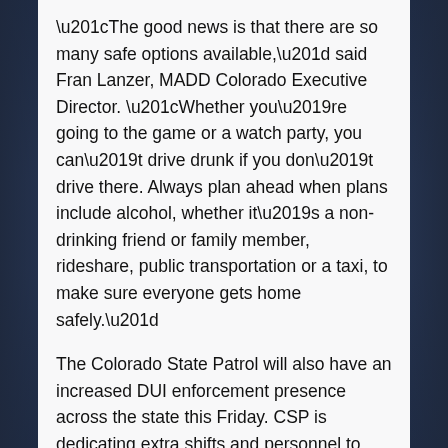“The good news is that there are so many safe options available,” said Fran Lanzer, MADD Colorado Executive Director. “Whether you’re going to the game or a watch party, you can’t drive drunk if you don’t drive there. Always plan ahead when plans include alcohol, whether it’s a non-drinking friend or family member, rideshare, public transportation or a taxi, to make sure everyone gets home safely.”
The Colorado State Patrol will also have an increased DUI enforcement presence across the state this Friday. CSP is dedicating extra shifts and personnel to detect and enforce Colorado’s DUI laws each night the Colorado Avalanche play.
"Following the last game of the 2001 series when the Avalanche won the Cup, I made a DUI arrest within